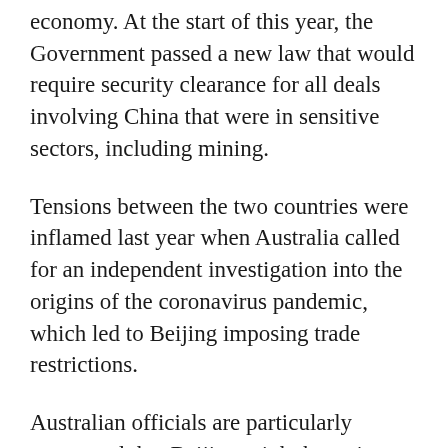economy. At the start of this year, the Government passed a new law that would require security clearance for all deals involving China that were in sensitive sectors, including mining.
Tensions between the two countries were inflamed last year when Australia called for an independent investigation into the origins of the coronavirus pandemic, which led to Beijing imposing trade restrictions.
Australian officials are particularly concerned that Beijing might be trying to control the country's valuable resources sector and particularly vital commodities like lithium.